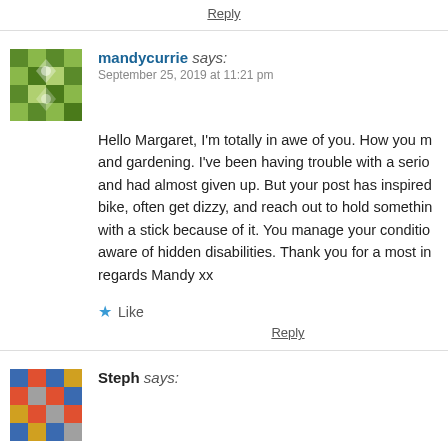Reply
[Figure (illustration): Green geometric mosaic avatar for mandycurrie]
mandycurrie says:
September 25, 2019 at 11:21 pm
Hello Margaret, I'm totally in awe of you. How you m... and gardening. I've been having trouble with a serio... and had almost given up. But your post has inspired... bike, often get dizzy, and reach out to hold somethin... with a stick because of it. You manage your conditio... aware of hidden disabilities. Thank you for a most in... regards Mandy xx
★ Like
Reply
[Figure (illustration): Colorful geometric mosaic avatar for Steph]
Steph says: